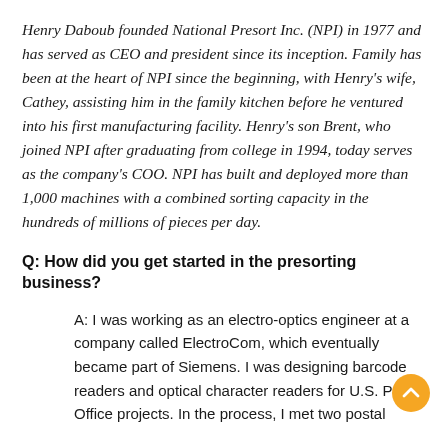Henry Daboub founded National Presort Inc. (NPI) in 1977 and has served as CEO and president since its inception. Family has been at the heart of NPI since the beginning, with Henry's wife, Cathey, assisting him in the family kitchen before he ventured into his first manufacturing facility. Henry's son Brent, who joined NPI after graduating from college in 1994, today serves as the company's COO. NPI has built and deployed more than 1,000 machines with a combined sorting capacity in the hundreds of millions of pieces per day.
Q: How did you get started in the presorting business?
A: I was working as an electro-optics engineer at a company called ElectroCom, which eventually became part of Siemens. I was designing barcode readers and optical character readers for U.S. Post Office projects. In the process, I met two postal